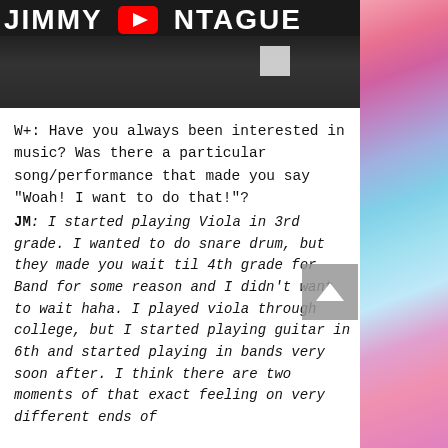[Figure (screenshot): YouTube video thumbnail showing 'JIMMY MONTAGUE' text with YouTube logo/play button, black and white photo of person at computer in background]
W+: Have you always been interested in music? Was there a particular song/performance that made you say "Woah! I want to do that!"?
JM: I started playing Viola in 3rd grade. I wanted to do snare drum, but they made you wait til 4th grade for Band for some reason and I didn't want to wait haha. I played viola through college, but I started playing guitar in 6th and started playing in bands very soon after. I think there are two moments of that exact feeling on very different ends of